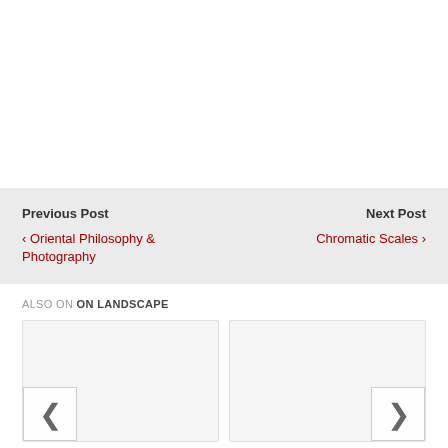Previous Post
‹ Oriental Philosophy & Photography
Next Post
Chromatic Scales ›
ALSO ON ON LANDSCAPE
[Figure (other): Thumbnail card with left navigation arrow]
[Figure (other): Thumbnail card with right navigation arrow]